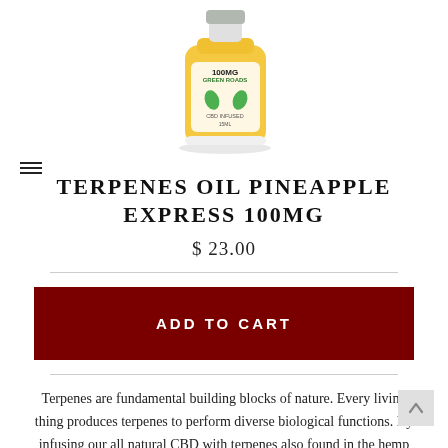[Figure (photo): Green Roads CBD Terpenes Oil Pineapple Express 100mg product bottle with yellow label]
TERPENES OIL PINEAPPLE EXPRESS 100MG
$ 23.00
ADD TO CART
Terpenes are fundamental building blocks of nature. Every living thing produces terpenes to perform diverse biological functions. By infusing our all natural CBD with terpenes also found in the hemp plant, we take advantage of the entourage effect, creating synergy between plant and human. The Pineapple Terpenes formula includes the terpenes found in the